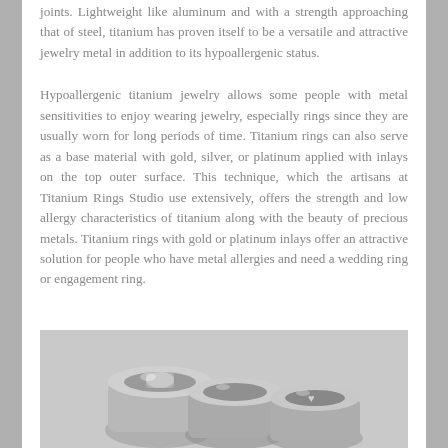joints. Lightweight like aluminum and with a strength approaching that of steel, titanium has proven itself to be a versatile and attractive jewelry metal in addition to its hypoallergenic status.
Hypoallergenic titanium jewelry allows some people with metal sensitivities to enjoy wearing jewelry, especially rings since they are usually worn for long periods of time. Titanium rings can also serve as a base material with gold, silver, or platinum applied with inlays on the top outer surface. This technique, which the artisans at Titanium Rings Studio use extensively, offers the strength and low allergy characteristics of titanium along with the beauty of precious metals. Titanium rings with gold or platinum inlays offer an attractive solution for people who have metal allergies and need a wedding ring or engagement ring.
[Figure (photo): Photo of several titanium rings with inlays, displayed on a light gray surface. Multiple rings visible including bands and rings with gemstone settings.]